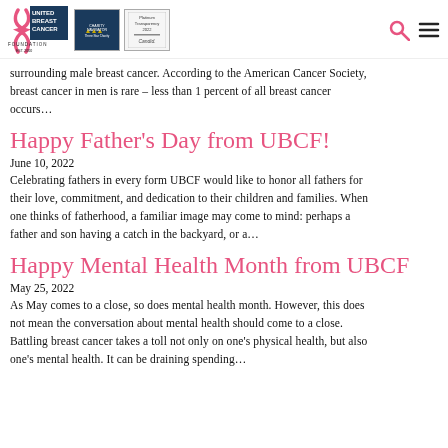[Figure (logo): United Breast Cancer Foundation logo with pink ribbon, Charity Navigator 3-star badge, and Platinum Transparency 2022 Candid badge]
surrounding male breast cancer. According to the American Cancer Society, breast cancer in men is rare – less than 1 percent of all breast cancer occurs…
Happy Father's Day from UBCF!
June 10, 2022
Celebrating fathers in every form UBCF would like to honor all fathers for their love, commitment, and dedication to their children and families. When one thinks of fatherhood, a familiar image may come to mind: perhaps a father and son having a catch in the backyard, or a…
Happy Mental Health Month from UBCF
May 25, 2022
As May comes to a close, so does mental health month. However, this does not mean the conversation about mental health should come to a close. Battling breast cancer takes a toll not only on one's physical health, but also one's mental health. It can be draining spending…